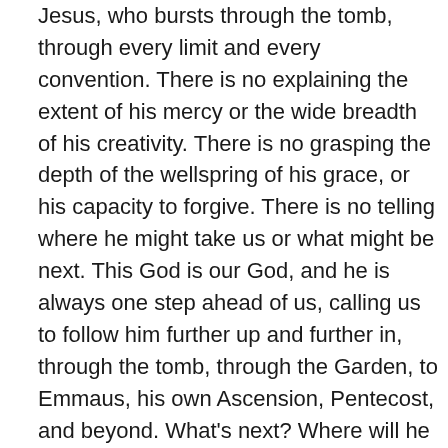Jesus, who bursts through the tomb, through every limit and every convention. There is no explaining the extent of his mercy or the wide breadth of his creativity. There is no grasping the depth of the wellspring of his grace, or his capacity to forgive. There is no telling where he might take us or what might be next. This God is our God, and he is always one step ahead of us, calling us to follow him further up and further in, through the tomb, through the Garden, to Emmaus, his own Ascension, Pentecost, and beyond. What's next? Where will he take us? How will we recognize him in an hour, tomorrow, next year? There is no telling. His final meaning is always a step beyond the last explanation we've heard.
And yet no matter where we are on our own roads to Emmaus, no matter what sense we've been able to make of the last few days, of our own lives, or the talk of his